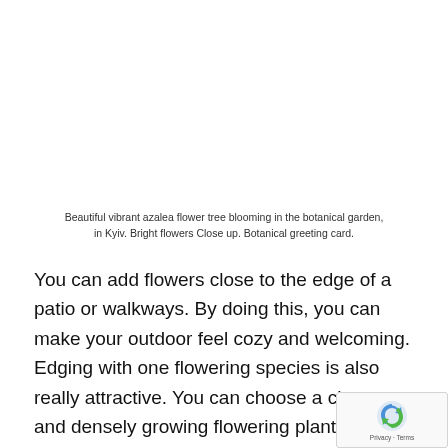Beautiful vibrant azalea flower tree blooming in the botanical garden, in Kyiv. Bright flowers Close up. Botanical greeting card.
You can add flowers close to the edge of a patio or walkways. By doing this, you can make your outdoor feel cozy and welcoming. Edging with one flowering species is also really attractive. You can choose a cheap and densely growing flowering plant for this purpose such as marigold, asters or chrysanthemums. An ov flowering bed in the centre of a well-maintained lawn is